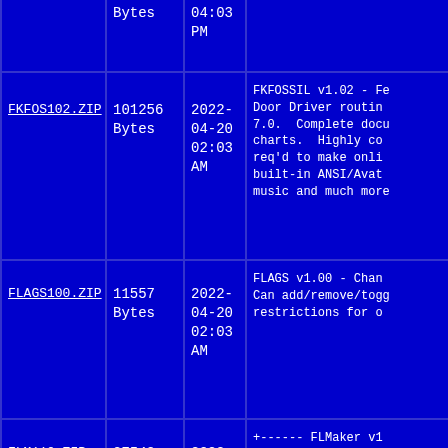| Filename | Size | Date | Description |
| --- | --- | --- | --- |
|  | Bytes | 04:03 PM |  |
| FKFOS102.ZIP | 101256 Bytes | 2022-04-20 02:03 AM | FKFOSSIL v1.02 - Fe Door Driver routin 7.0. Complete docu charts. Highly co req'd to make onli built-in ANSI/Avat music and much more |
| FLAGS100.ZIP | 11557 Bytes | 2022-04-20 02:03 AM | FLAGS v1.00 - Chan Can add/remove/tog restrictions for o |
| FLM110.ZIP | 27542 Bytes | 2022-04-20 02:03 AM | +------ FLMaker v1 | FLMaker is filel | for Telegard 3.09 +---------------- | PS ! with MCI su +----------------- |